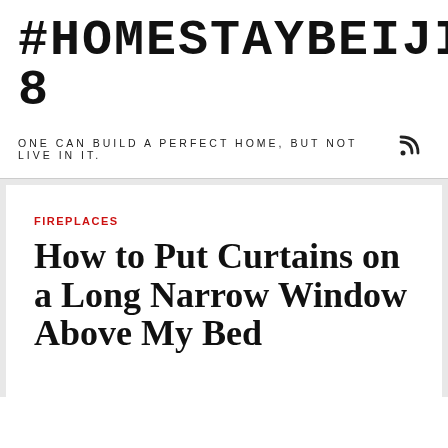#HOMESTAYBEIJING2008
ONE CAN BUILD A PERFECT HOME, BUT NOT LIVE IN IT.
FIREPLACES
How to Put Curtains on a Long Narrow Window Above My Bed